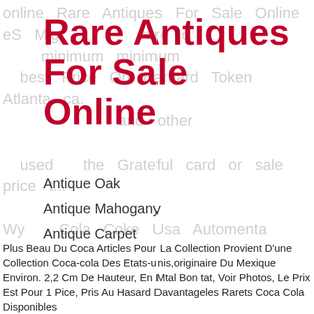Rare Antiques For Sale Online
Antique Oak
Antique Mahogany
Antique Carpet
Antique Painting
Antique Glass
Antique Plate
Plus Beau Du Coca Articles Pour La Collection Provient D'une Collection Coca-cola Des Etats-unis,originaire Du Mexique Environ. 2,2 Cm De Hauteur, En Mtal Bon tat, Voir Photos, Le Prix Est Pour 1 Pice, Pris Au Hasard Davantageles Rarets Coca Cola Disponibles